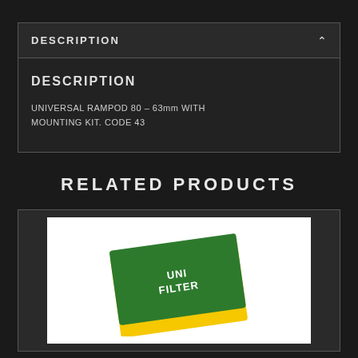DESCRIPTION
DESCRIPTION
UNIVERSAL RAMPOD 80 – 63mm WITH MOUNTING KIT. CODE 43
RELATED PRODUCTS
[Figure (photo): A UNI FILTER air filter product — rectangular foam filter with green top surface and yellow edge/border, with 'UNI FILTER' text in white on the green surface. Shown at an angle on a white background.]